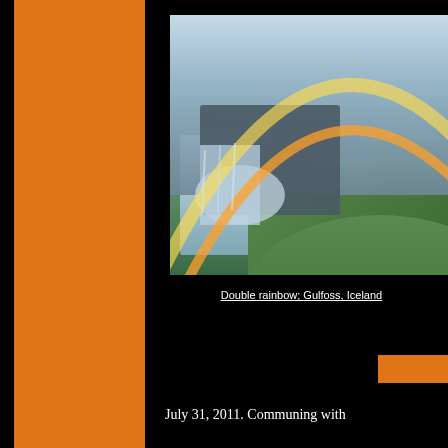[Figure (photo): Double rainbow over Gulfoss waterfall in Iceland, showing green hills, rocky cliffs, and a bright double rainbow arc against a partly cloudy sky]
Double rainbow; Gulfoss, Iceland
July 31, 2011. Communing with